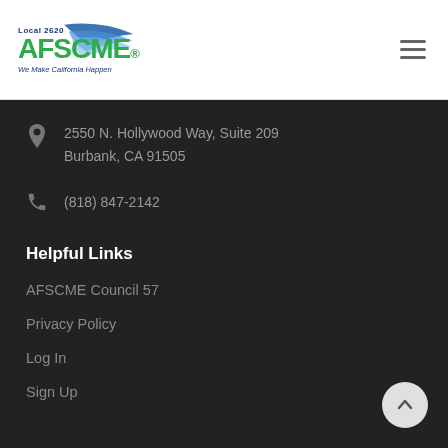Local 2620 AFSCME We Make California Happen
2550 N. Hollywood Way, Suite 209
Burbank, CA 91505
(818) 847-2142
Helpful Links
AFSCME Council 57
Privacy Policy
Log In
Sign Up